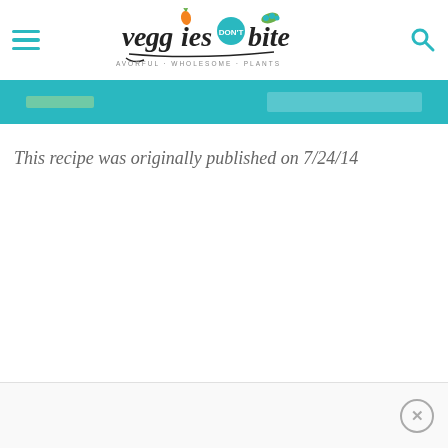veggies don't bite — SIMPLE · FLAVORFUL · WHOLESOME · PLANTS
[Figure (screenshot): Teal/cyan colored banner strip with subtle decorative elements]
This recipe was originally published on 7/24/14